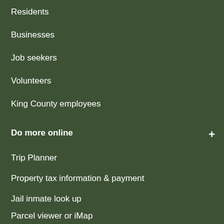Residents
Businesses
Job seekers
Volunteers
King County employees
Do more online
Trip Planner
Property tax information & payment
Jail inmate look up
Parcel viewer or iMap
Public records